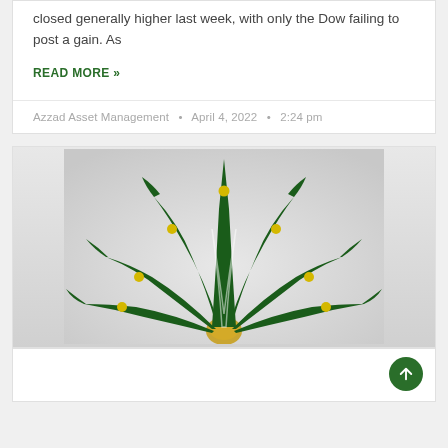closed generally higher last week, with only the Dow failing to post a gain. As
READ MORE »
Azzad Asset Management • April 4, 2022 • 2:24 pm
[Figure (logo): Azzad Asset Management logo: a green palm-tree fan/frond emblem with yellow dots and a gold circular base, on a light gray gradient background]